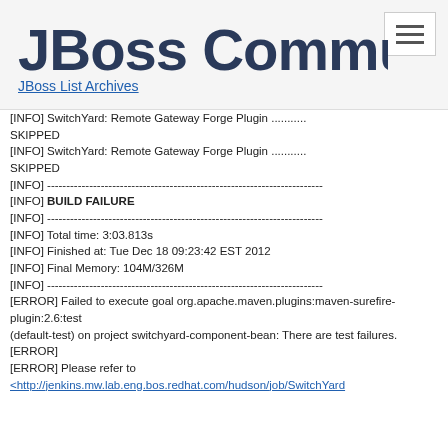JBoss Community | JBoss List Archives
[INFO] SwitchYard: Remote Gateway Forge Plugin ........... SKIPPED
[INFO] SwitchYard: Remote Gateway Forge Plugin ........... SKIPPED
[INFO] ------------------------------------------------------------------------
[INFO] BUILD FAILURE
[INFO] ------------------------------------------------------------------------
[INFO] Total time: 3:03.813s
[INFO] Finished at: Tue Dec 18 09:23:42 EST 2012
[INFO] Final Memory: 104M/326M
[INFO] ------------------------------------------------------------------------
[ERROR] Failed to execute goal org.apache.maven.plugins:maven-surefire-plugin:2.6:test (default-test) on project switchyard-component-bean: There are test failures.
[ERROR]
[ERROR] Please refer to
<http://jenkins.mw.lab.eng.bos.redhat.com/hudson/job/SwitchYard